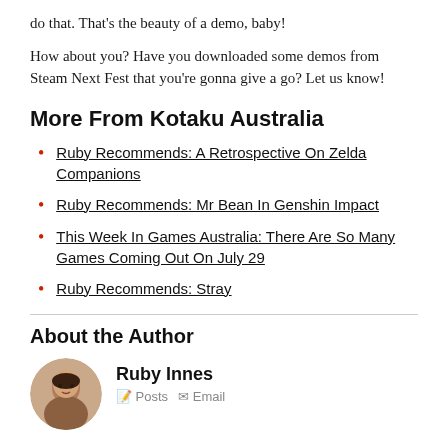do that. That's the beauty of a demo, baby!
How about you? Have you downloaded some demos from Steam Next Fest that you're gonna give a go? Let us know!
More From Kotaku Australia
Ruby Recommends: A Retrospective On Zelda Companions
Ruby Recommends: Mr Bean In Genshin Impact
This Week In Games Australia: There Are So Many Games Coming Out On July 29
Ruby Recommends: Stray
About the Author
Ruby Innes
Posts   Email